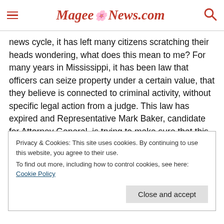MageeNews.com
news cycle, it has left many citizens scratching their heads wondering, what does this mean to me? For many years in Mississippi, it has been law that officers can seize property under a certain value, that they believe is connected to criminal activity, without specific legal action from a judge. This law has expired and Representative Mark Baker, candidate for Attorney General, is trying to make sure that this law is renewed. Opponents of the law say that it makes confiscation of property much easier for police and infringes on person rights. Other opponents claim that order to retrieve
Privacy & Cookies: This site uses cookies. By continuing to use this website, you agree to their use.
To find out more, including how to control cookies, see here: Cookie Policy